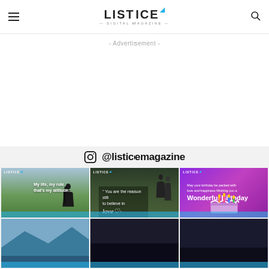LISTICE DIGITAL MAGAZINE
- Advertisement -
@listicemagazine
[Figure (photo): Instagram grid showing 6 Listice magazine social media posts: a girl sitting in a field with quote 'My life, my rule that's my attitude...', a couple walking with love quote overlay, a purple birthday card with cake, and three partially visible bottom row images]
@listicemagazine